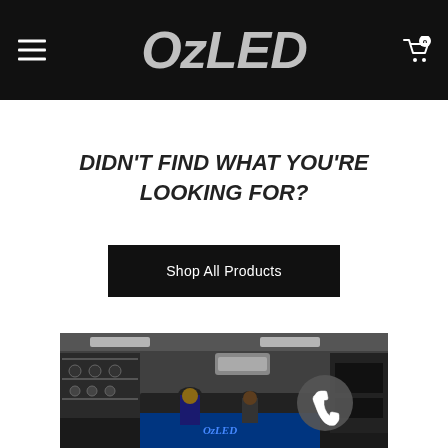OzLED navigation header with hamburger menu and cart (0 items)
DIDN'T FIND WHAT YOU'RE LOOKING FOR?
Shop All Products
[Figure (photo): Interior of OzLED store with staff at counter, product shelves with lighting equipment, and a phone/call button overlay]